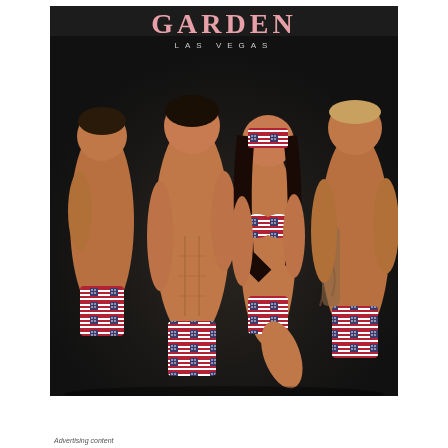GARDEN LAS VEGAS
[Figure (photo): Promotional photo for Garden Las Vegas nightclub/venue. Four people wearing American flag-themed swimwear posing against a dark background. One woman in a stars-and-stripes bikini with a matching headband, flanked by three men in American flag swim briefs.]
Advertising content